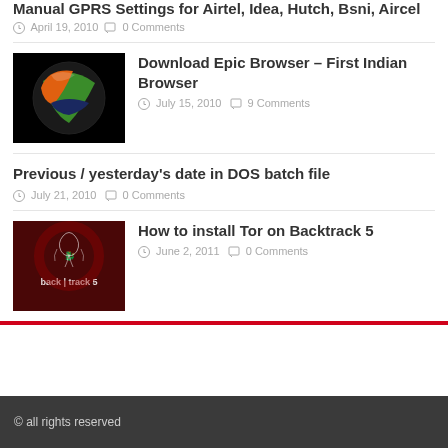Manual GPRS Settings for Airtel, Idea, Hutch, Bsni, Aircel
April 19, 2010  0 Comments
Download Epic Browser – First Indian Browser
[Figure (illustration): Epic Browser logo – a colorful sphere with orange, green, and dark blue swirls on black background]
July 15, 2010  9 Comments
Previous / yesterday's date in DOS batch file
July 21, 2010  0 Comments
How to install Tor on Backtrack 5
[Figure (illustration): BackTrack 5 logo – dark red background with white Kali Linux dragon logo and text 'back | track 5']
June 2, 2011  0 Comments
© all rights reserved